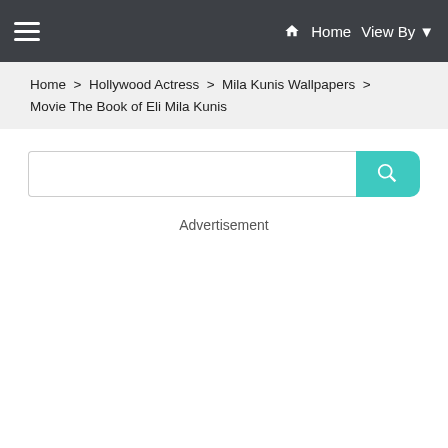☰  Home  View By ▾
Home > Hollywood Actress > Mila Kunis Wallpapers > Movie The Book of Eli Mila Kunis
Advertisement